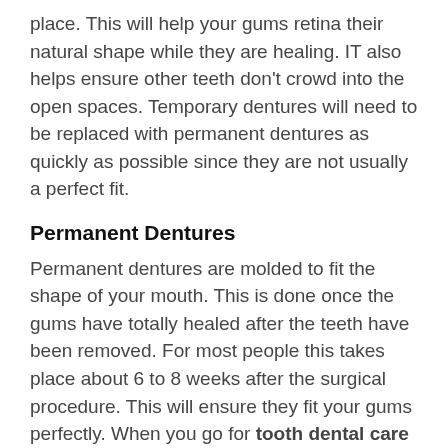place. This will help your gums retina their natural shape while they are healing. IT also helps ensure other teeth don't crowd into the open spaces. Temporary dentures will need to be replaced with permanent dentures as quickly as possible since they are not usually a perfect fit.
Permanent Dentures
Permanent dentures are molded to fit the shape of your mouth. This is done once the gums have totally healed after the teeth have been removed. For most people this takes place about 6 to 8 weeks after the surgical procedure. This will ensure they fit your gums perfectly. When you go for tooth dental care in Waterloo, the dentist will help you choose the type of dentures that are best suited to fit your